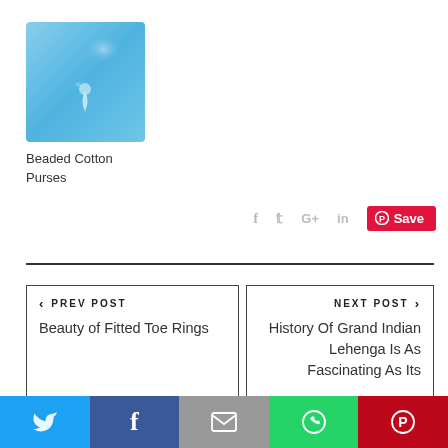[Figure (photo): Blue water droplet / abstract light background thumbnail image]
Beaded Cotton Purses
[Figure (infographic): Social share icons: Facebook, Twitter, Google+, LinkedIn, and Pinterest Save button]
< PREV POST
Beauty of Fitted Toe Rings
NEXT POST >
History Of Grand Indian Lehenga Is As Fascinating As Its
[Figure (infographic): Bottom share bar with Twitter, Facebook, Email, WhatsApp, Pinterest icons]